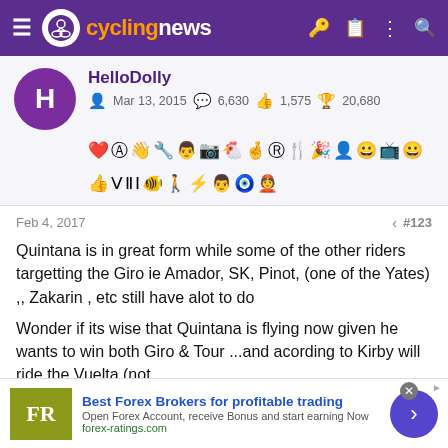cyclingnews
HelloDolly
Mar 13, 2015  6,630  1,575  20,680
Feb 4, 2017  #123
Quintana is in great form while some of the other riders targetting the Giro ie Amador, SK, Pinot, (one of the Yates) ,, Zakarin , etc still have alot to do

Wonder if its wise that Quintana is flying now given he wants to win both Giro & Tour ...and acording to Kirby will ride the Vuelta (not
[Figure (infographic): Advertisement for Best Forex Brokers - forex-ratings.com]